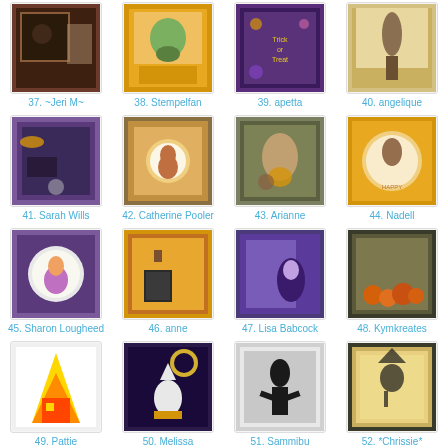[Figure (photo): Thumbnail image 37 - Halloween craft card by ~Jeri M~]
37. ~Jeri M~
[Figure (photo): Thumbnail image 38 - Halloween craft card by Stempelfan]
38. Stempelfan
[Figure (photo): Thumbnail image 39 - Halloween craft card by apetta]
39. apetta
[Figure (photo): Thumbnail image 40 - Halloween craft card by angelique]
40. angelique
[Figure (photo): Thumbnail image 41 - Halloween craft card by Sarah Wills]
41. Sarah Wills
[Figure (photo): Thumbnail image 42 - Halloween craft card by Catherine Pooler]
42. Catherine Pooler
[Figure (photo): Thumbnail image 43 - Halloween craft card by Arianne]
43. Arianne
[Figure (photo): Thumbnail image 44 - Halloween craft card by Nadell]
44. Nadell
[Figure (photo): Thumbnail image 45 - Halloween craft card by Sharon Lougheed]
45. Sharon Lougheed
[Figure (photo): Thumbnail image 46 - Halloween craft card by anne]
46. anne
[Figure (photo): Thumbnail image 47 - Halloween craft card by Lisa Babcock]
47. Lisa Babcock
[Figure (photo): Thumbnail image 48 - Halloween craft card by Kymkreates]
48. Kymkreates
[Figure (photo): Thumbnail image 49 - Halloween craft card by Pattie]
49. Pattie
[Figure (photo): Thumbnail image 50 - Halloween craft card by Melissa]
50. Melissa
[Figure (photo): Thumbnail image 51 - Halloween craft card by Sammibu]
51. Sammibu
[Figure (photo): Thumbnail image 52 - Halloween craft card by *Chrissie*]
52. *Chrissie*